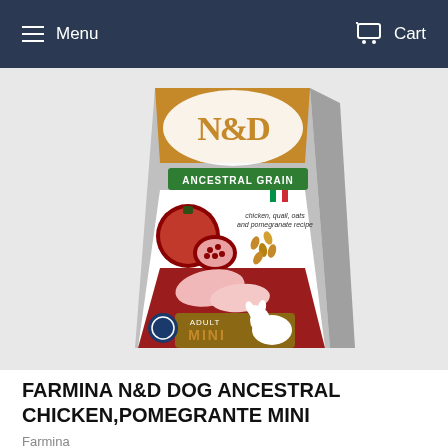Menu   Cart
[Figure (photo): Farmina N&D Ancestral Grain dog food bag for Adult Mini, featuring chicken, quail, oats and pomegranate recipe. The bag shows pomegranates, chicken pieces, and grains on a dark red and white bag with the N&D logo.]
FARMINA N&D DOG ANCESTRAL CHICKEN,POMEGRANTE MINI
Farmina